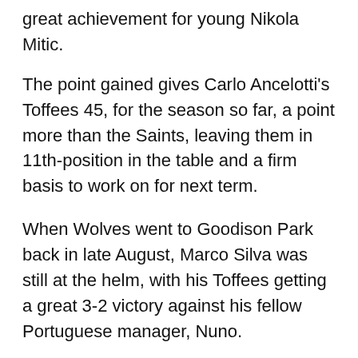great achievement for young Nikola Mitic.
The point gained gives Carlo Ancelotti's Toffees 45, for the season so far, a point more than the Saints, leaving them in 11th-position in the table and a firm basis to work on for next term.
When Wolves went to Goodison Park back in late August, Marco Silva was still at the helm, with his Toffees getting a great 3-2 victory against his fellow Portuguese manager, Nuno.
Richarlison and Alex Iwobi scored for Everton in the 1st-half, with Romain Saiss pulling a goal back for Wolves.
After the break, Read the season so far, a point